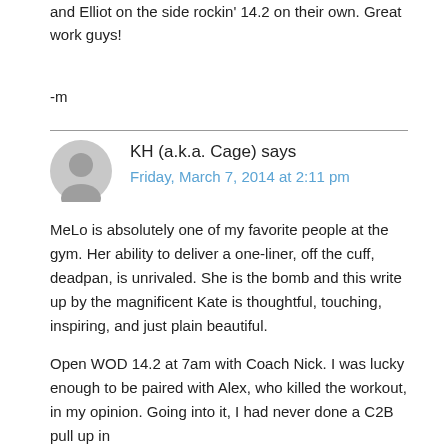and Elliot on the side rockin' 14.2 on their own. Great work guys!
-m
KH (a.k.a. Cage) says
Friday, March 7, 2014 at 2:11 pm
MeLo is absolutely one of my favorite people at the gym. Her ability to deliver a one-liner, off the cuff, deadpan, is unrivaled. She is the bomb and this write up by the magnificent Kate is thoughtful, touching, inspiring, and just plain beautiful.
Open WOD 14.2 at 7am with Coach Nick. I was lucky enough to be paired with Alex, who killed the workout, in my opinion. Going into it, I had never done a C2B pull up in